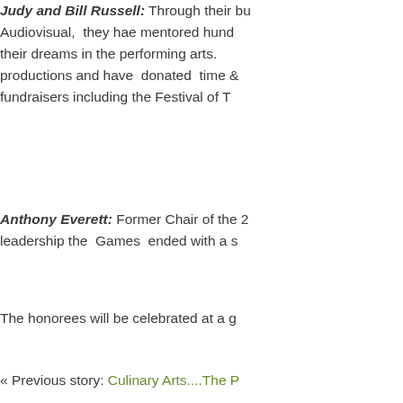Judy and Bill Russell: Through their business, Russell Audiovisual, they hae mentored hundreds of youth in pursuing their dreams in the performing arts. They have supported productions and have donated time and resources to fundraisers including the Festival of T
Anthony Everett: Former Chair of the 2... leadership the Games ended with a s
The honorees will be celebrated at a g
« Previous story: Culinary Arts....The P